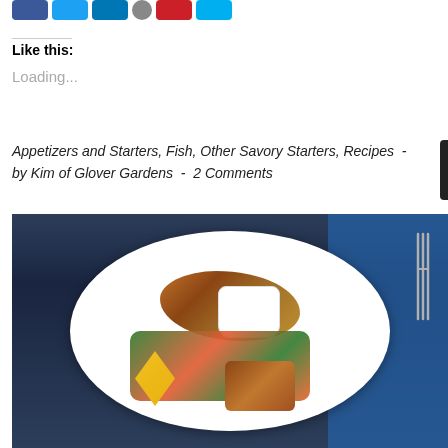[Figure (other): Social share buttons: Facebook, Twitter, LinkedIn, email, Pinterest, and another social button]
Like this:
Loading...
Appetizers and Starters, Fish, Other Savory Starters, Recipes  -  by Kim of Glover Gardens  -  2 Comments
[Figure (photo): A white dinner plate with breaded/crusted fish fillet, mixed vegetables (broccoli, carrots, green beans), a small white ramekin of white sauce, a piece of cornbread, and a lemon wedge. Set on a dark blue tablecloth with a fork visible at the right side.]